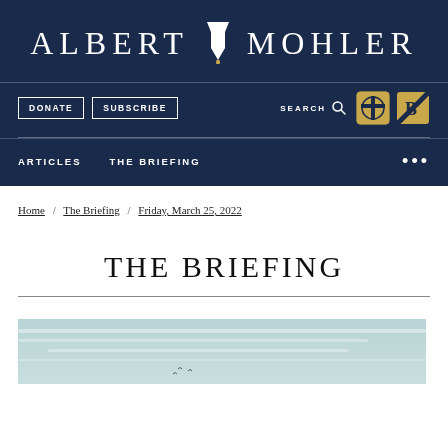ALBERT MOHLER
DONATE | SUBSCRIBE | SEARCH | ARTICLES | THE BRIEFING
Home / The Briefing / Friday, March 25, 2022
THE BRIEFING
[Figure (photo): Landscape/sky photograph used as article header image for The Briefing]